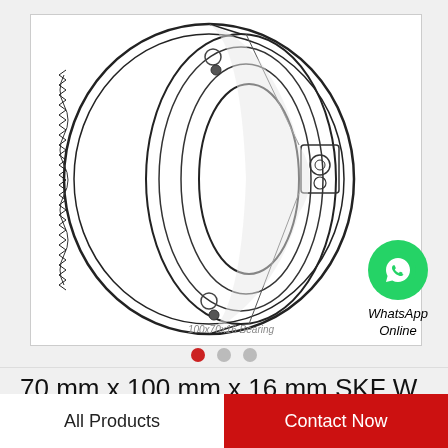[Figure (engineering-diagram): Technical line drawing of a deep groove ball bearing (SKF W 61914-2Z), showing cross-sectional exploded view of bearing rings, balls, and cage. Watermark text reads '100x70x16 Bearing'.]
[Figure (logo): WhatsApp green circle icon with phone handset, labeled 'WhatsApp Online' in italic text below.]
70 mm x 100 mm x 16 mm SKF W 61914-2Z deep groove ball bearings
All Products
Contact Now